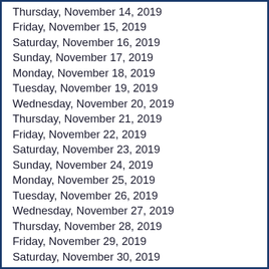Thursday, November 14, 2019
Friday, November 15, 2019
Saturday, November 16, 2019
Sunday, November 17, 2019
Monday, November 18, 2019
Tuesday, November 19, 2019
Wednesday, November 20, 2019
Thursday, November 21, 2019
Friday, November 22, 2019
Saturday, November 23, 2019
Sunday, November 24, 2019
Monday, November 25, 2019
Tuesday, November 26, 2019
Wednesday, November 27, 2019
Thursday, November 28, 2019
Friday, November 29, 2019
Saturday, November 30, 2019
Sunday, December 1, 2019
Monday, December 2, 2019